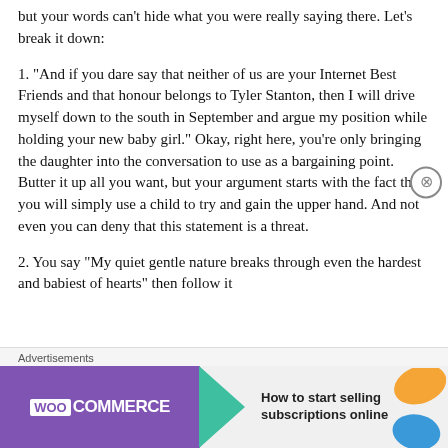but your words can't hide what you were really saying there. Let's break it down:
1. “And if you dare say that neither of us are your Internet Best Friends and that honour belongs to Tyler Stanton, then I will drive myself down to the south in September and argue my position while holding your new baby girl.” Okay, right here, you’re only bringing the daughter into the conversation to use as a bargaining point. Butter it up all you want, but your argument starts with the fact that you will simply use a child to try and gain the upper hand. And not even you can deny that this statement is a threat.
2. You say “My quiet gentle nature breaks through even the hardest and babiest of hearts” then follow it
Advertisements
[Figure (other): WooCommerce advertisement banner: purple section with WooCommerce logo and teal arrow, right section with text 'How to start selling subscriptions online' and orange/blue decorative shapes]